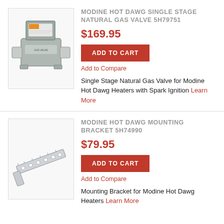[Figure (photo): Gas valve unit - Modine Hot Dawg Single Stage Natural Gas Valve 5H79751]
MODINE HOT DAWG SINGLE STAGE NATURAL GAS VALVE 5H79751
$169.95
ADD TO CART
Add to Compare
Single Stage Natural Gas Valve for Modine Hot Dawg Heaters with Spark Ignition Learn More
[Figure (photo): Mounting bracket - Modine Hot Dawg Mounting Bracket 5H74990]
MODINE HOT DAWG MOUNTING BRACKET 5H74990
$79.95
ADD TO CART
Add to Compare
Mounting Bracket for Modine Hot Dawg Heaters Learn More